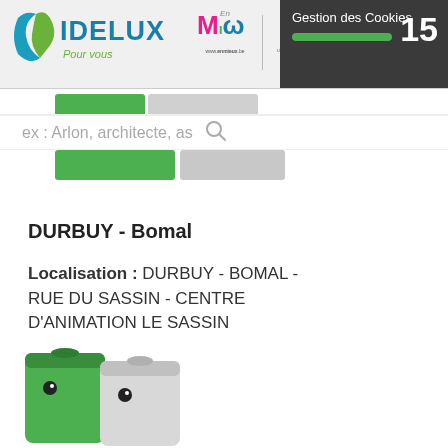[Figure (logo): IDELUX Pour vous logo with teal and green swoosh icon]
[Figure (logo): Enmieux.be partner logo with M, lowercase letters in pink, green, blue]
[Figure (logo): European Union flag logo]
[Figure (logo): Wallonie regional logo with rooster]
Gestion des Cookies
15
ex : Arlon, architecte, as
DURBUY - Bomal
Localisation : DURBUY - BOMAL - RUE DU SASSIN - CENTRE D'ANIMATION LE SASSIN
[Figure (illustration): Green and white recycling bin / container illustration]